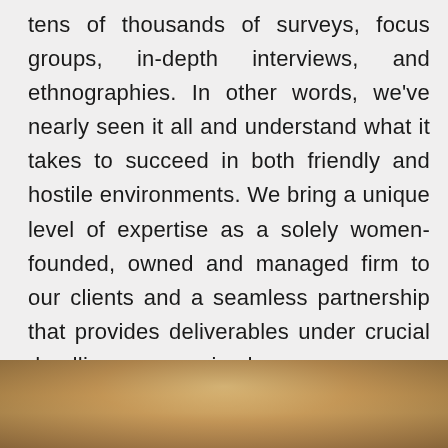tens of thousands of surveys, focus groups, in-depth interviews, and ethnographies. In other words, we've nearly seen it all and understand what it takes to succeed in both friendly and hostile environments. We bring a unique level of expertise as a solely women-founded, owned and managed firm to our clients and a seamless partnership that provides deliverables under crucial deadlines as promised.
[Figure (photo): Partial photo showing tops of people's heads with blonde/light brown hair, cropped at bottom of page]